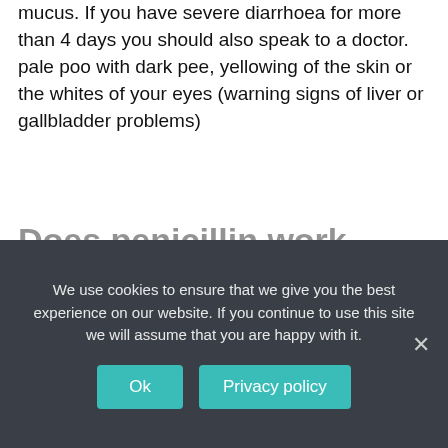mucus. If you have severe diarrhoea for more than 4 days you should also speak to a doctor. pale poo with dark pee, yellowing of the skin or the whites of your eyes (warning signs of liver or gallbladder problems)
Does penicillin work faster than amoxicillin?
Is amoxicillin or penicillin more effective? Although both antibiotics are effective for treating bacterial infections, their effectiveness depends on the bacteria causing the
Can you give... [obscured by cookie banner]
We use cookies to ensure that we give you the best experience on our website. If you continue to use this site we will assume that you are happy with it.